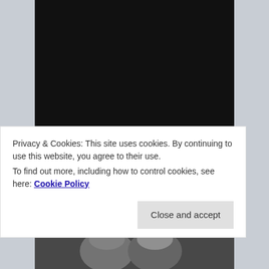Calls were made and pledges recorded, and suddenly before I knew it, my shift on the panel was over. I was ushered with my mom from the elevator to the 500 level to our box seats to watch our Canucks take on the Nashville Predators. The very idea of sitting in box seats was an absolute treat and delight for these two Canuck fans who on a regular day would never be able to afford such a luxury. A view from the top that will forever be appreciated and will make going back to regular viewing only ever so
[Figure (photo): Photo strip at the bottom showing partial faces of people]
Privacy & Cookies: This site uses cookies. By continuing to use this website, you agree to their use.
To find out more, including how to control cookies, see here: Cookie Policy